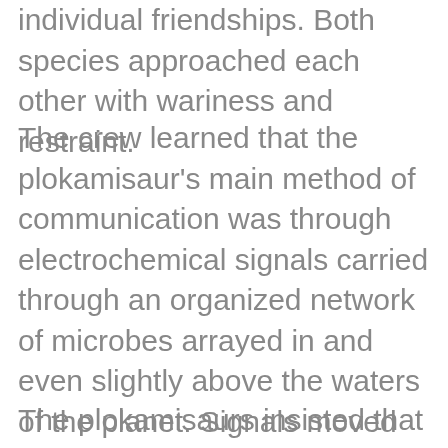individual friendships. Both species approached each other with wariness and restraint.
The crew learned that the plokamisaur's main method of communication was through electrochemical signals carried through an organized network of microbes arrayed in and even slightly above the waters of the planet. Signals moved through the network akin to the vibrations of a spiderweb, only more sophisticated. At the time they sent the dispatch drone, the crew was still trying to figure out the nuances of the structures and pathways, and some aspects of the system that seemed to defy the known laws of physics.
The plokamisaurs insisted that the signals were best felt through a bodily surface, but